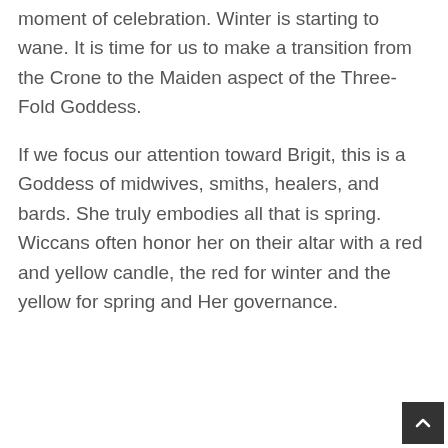moment of celebration. Winter is starting to wane. It is time for us to make a transition from the Crone to the Maiden aspect of the Three-Fold Goddess.
If we focus our attention toward Brigit, this is a Goddess of midwives, smiths, healers, and bards. She truly embodies all that is spring. Wiccans often honor her on their altar with a red and yellow candle, the red for winter and the yellow for spring and Her governance.